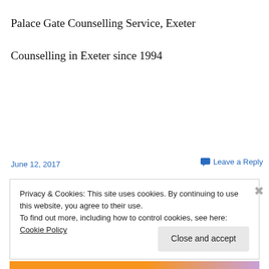Palace Gate Counselling Service, Exeter
Counselling in Exeter since 1994
June 12, 2017
Leave a Reply
Privacy & Cookies: This site uses cookies. By continuing to use this website, you agree to their use.
To find out more, including how to control cookies, see here: Cookie Policy
Close and accept